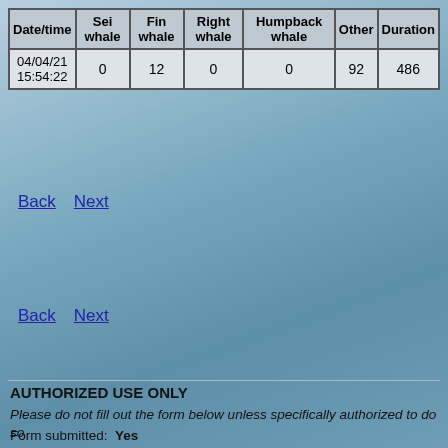| Date/time | Sei whale | Fin whale | Right whale | Humpback whale | Other | Duration |
| --- | --- | --- | --- | --- | --- | --- |
| 04/04/21 15:54:22 | 0 | 12 | 0 | 0 | 92 | 486 |
Back   Next
Back   Next
AUTHORIZED USE ONLY
Please do not fill out the form below unless specifically authorized to do so
Form submitted:  Yes